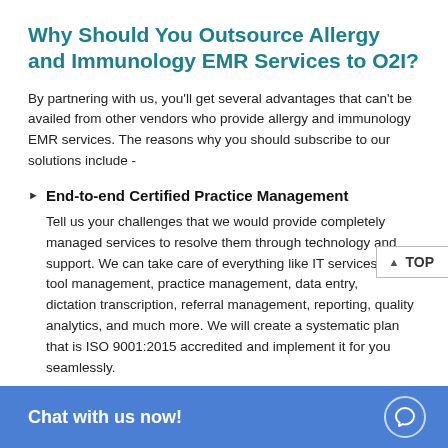Why Should You Outsource Allergy and Immunology EMR Services to O2I?
By partnering with us, you'll get several advantages that can't be availed from other vendors who provide allergy and immunology EMR services. The reasons why you should subscribe to our solutions include -
End-to-end Certified Practice Management
Tell us your challenges that we would provide completely managed services to resolve them through technology and support. We can take care of everything like IT services, EMR tool management, practice management, data entry, dictation transcription, referral management, reporting, quality analytics, and much more. We will create a systematic plan that is ISO 9001:2015 accredited and implement it for you seamlessly.
Secure Data Management
We understand that m... While outsourcing to...